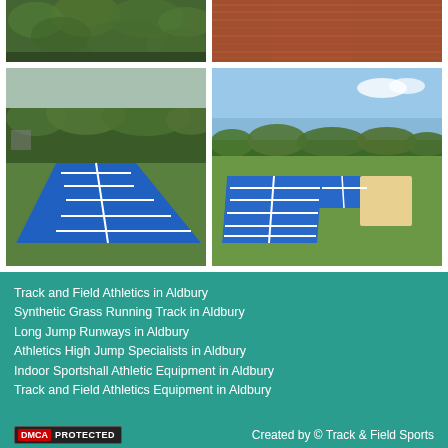[Figure (photo): Top-left photo: close-up of green hedge/bushes at an athletics facility]
[Figure (photo): Top-right photo: close-up of red/brown synthetic running track surface texture]
[Figure (photo): Bottom-left photo: blue long jump runway with white grid lines on grass field, viewed from the side]
[Figure (photo): Bottom-right photo: blue long jump runway with white grid lines and sand pit on grass field in sunny conditions]
Track and Field Athletics in Aldbury
Synthetic Grass Running Track in Aldbury
Long Jump Runways in Aldbury
Athletics High Jump Specialists in Aldbury
Indoor Sportshall Athletic Equipment in Aldbury
Track and Field Athletics Equipment in Aldbury
DMCA PROTECTED | Created by © Track & Field Sports